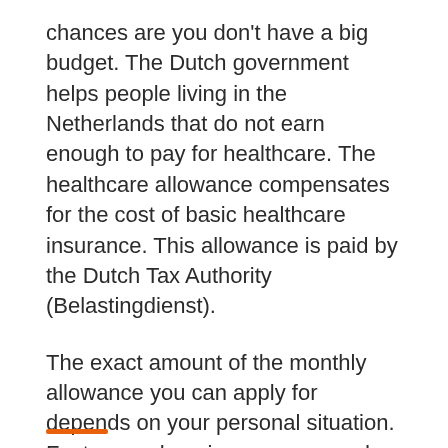chances are you don't have a big budget. The Dutch government helps people living in the Netherlands that do not earn enough to pay for healthcare. The healthcare allowance compensates for the cost of basic healthcare insurance. This allowance is paid by the Dutch Tax Authority (Belastingdienst).
The exact amount of the monthly allowance you can apply for depends on your personal situation. Factors such as income, age and capital are used to calculate the monthly amount. Find more information on healthcare allowance for international students in the Netherlands.